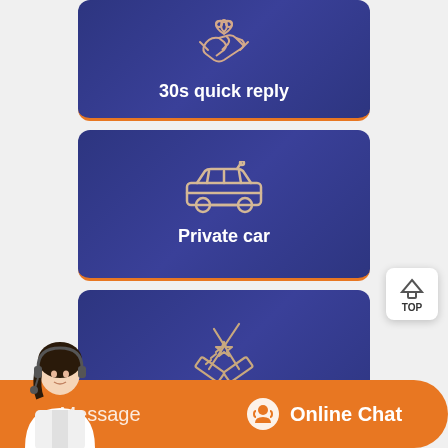[Figure (infographic): Card with handshake icon and text '30s quick reply' on dark blue background with orange bottom border]
[Figure (infographic): Card with car icon and text 'Private car' on dark blue background with orange bottom border]
[Figure (other): TOP button with house/arrow icon]
[Figure (infographic): Card with pencil/ruler crossed icon and text 'Free visit' on dark blue background with orange bottom border]
[Figure (infographic): Bottom bar with customer service agent photo, Message and Online Chat buttons on orange background]